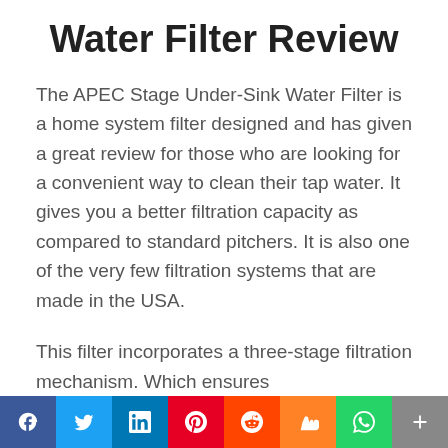Water Filter Review
The APEC Stage Under-Sink Water Filter is a home system filter designed and has given a great review for those who are looking for a convenient way to clean their tap water. It gives you a better filtration capacity as compared to standard pitchers. It is also one of the very few filtration systems that are made in the USA.
This filter incorporates a three-stage filtration mechanism. Which ensures
[Figure (infographic): Social media sharing bar with icons for Facebook, Twitter, LinkedIn, Pinterest, Reddit, Mix, WhatsApp, and More (+)]